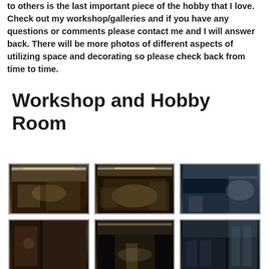to others is the last important piece of the hobby that I love. Check out my workshop/galleries and if you have any questions or comments please contact me and I will answer back. There will be more photos of different aspects of utilizing space and decorating so please check back from time to time.
Workshop and Hobby Room
[Figure (photo): Workshop interior photo 1 - cluttered hobby workshop with shelves and tools]
[Figure (photo): Workshop interior photo 2 - hobby room with equipment and supplies]
[Figure (photo): Workshop interior photo 3 - workbench with tools and hobby materials]
[Figure (photo): Workshop interior photo 4 - shelves with hobby supplies and tools]
[Figure (photo): Workshop interior photo 5 - large workshop area with person working]
[Figure (photo): Workshop interior photo 6 - workshop shelving and display area]